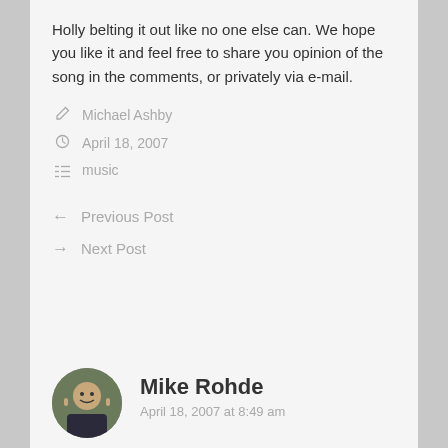Holly belting it out like no one else can. We hope you like it and feel free to share you opinion of the song in the comments, or privately via e-mail.
Michael Ashby
April 18, 2007
music
Previous Post
Next Post
Mike Rohde
April 18, 2007 at 8:49 am